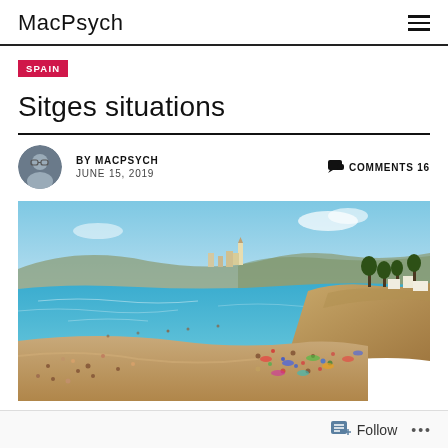MacPsych
SPAIN
Sitges situations
BY MACPSYCH  JUNE 15, 2019  COMMENTS 16
[Figure (photo): Aerial/elevated view of a crowded beach in Sitges, Spain, with turquoise Mediterranean sea, sandy beach packed with tourists, and the town with a church visible in the background on a rocky promontory. Sunny summer day with blue sky.]
Follow  ...